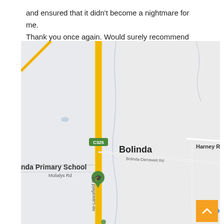and ensured that it didn't become a nightmare for me. Thank you once again. Would surely recommend their services to everyone. – Mark Walker
[Figure (map): Google Maps screenshot showing Bolinda area in Victoria, Australia. Displays road C325 (yellow road running vertically), Bolinda-Darraweit Rd, Bolinda Primary School marker with graduation cap icon, Mulialys Rd, Harney R(d), and Bolinda-Lancefield Rd label. The map background is light grey with road lines.]